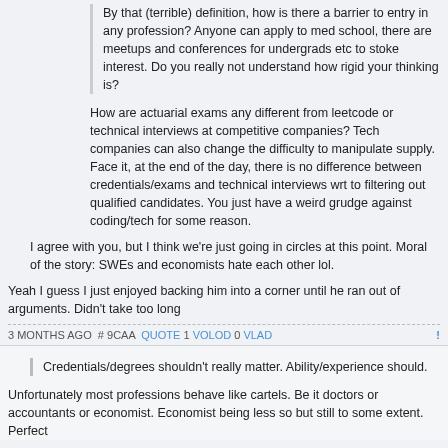By that (terrible) definition, how is there a barrier to entry in any profession? Anyone can apply to med school, there are meetups and conferences for undergrads etc to stoke interest. Do you really not understand how rigid your thinking is?
How are actuarial exams any different from leetcode or technical interviews at competitive companies? Tech companies can also change the difficulty to manipulate supply. Face it, at the end of the day, there is no difference between credentials/exams and technical interviews wrt to filtering out qualified candidates. You just have a weird grudge against coding/tech for some reason.
I agree with you, but I think we're just going in circles at this point. Moral of the story: SWEs and economists hate each other lol.
Yeah I guess I just enjoyed backing him into a corner until he ran out of arguments. Didn't take too long
3 MONTHS AGO # 9CAA QUOTE 1 VOLOD 0 VLAD
Credentials/degrees shouldn't really matter. Ability/experience should.
Unfortunately most professions behave like cartels. Be it doctors or accountants or economist. Economist being less so but still to some extent. Perfect